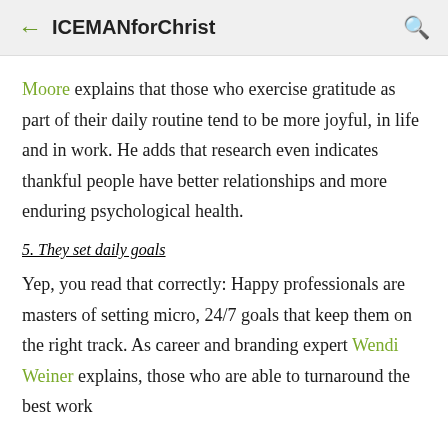ICEMANforChrist
Moore explains that those who exercise gratitude as part of their daily routine tend to be more joyful, in life and in work. He adds that research even indicates thankful people have better relationships and more enduring psychological health.
5. They set daily goals
Yep, you read that correctly: Happy professionals are masters of setting micro, 24/7 goals that keep them on the right track. As career and branding expert Wendi Weiner explains, those who are able to turnaround the best work